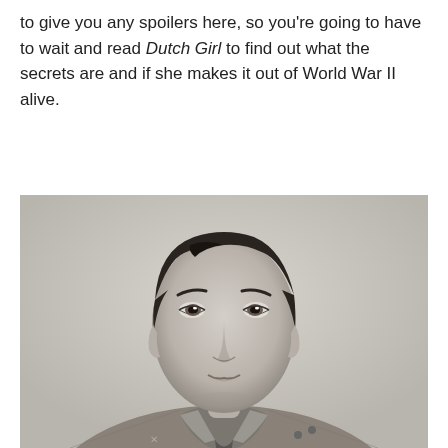to give you any spoilers here, so you're going to have to wait and read Dutch Girl to find out what the secrets are and if she makes it out of World War II alive.
[Figure (photo): Black and white portrait photograph of a young man in military uniform, looking slightly upward. He is wearing a military shirt with shoulder insignia and a tie.]